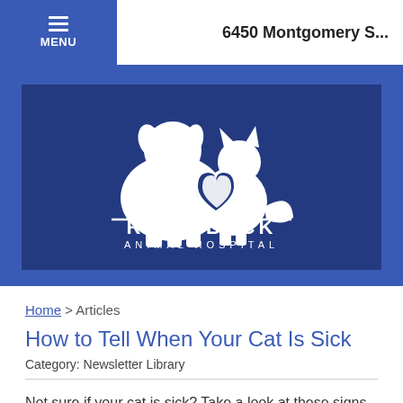MENU  6450 Montgomery S...
[Figure (logo): Rhinebeck Animal Hospital logo — white silhouettes of a dog and cat with a heart, text RHINEBECK ANIMAL HOSPITAL on dark blue background]
Home > Articles
How to Tell When Your Cat Is Sick
Category: Newsletter Library
Not sure if your cat is sick? Take a look at these signs.
Read more